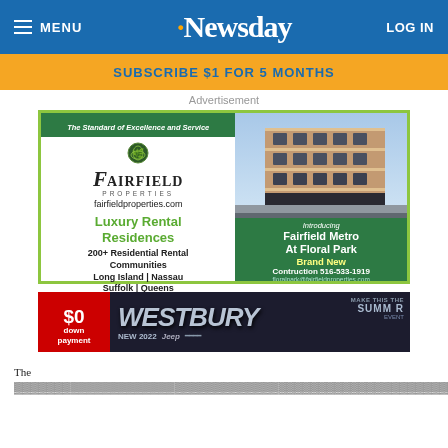MENU  Newsday  LOG IN
SUBSCRIBE $1 FOR 5 MONTHS
Advertisement
[Figure (illustration): Fairfield Properties advertisement. Left side: 'The Standard of Excellence and Service' header, Fairfield Properties logo, fairfieldproperties.com, Luxury Rental Residences, 200+ Residential Rental Communities, Long Island | Nassau, Suffolk | Queens, From Astoria to Southampton. Right side: photo of brick building, green panel with 'Introducing Fairfield Metro At Floral Park, Brand New, Contruction 516-533-1919, floralpark@fairfieldproperties.com']
[Figure (illustration): Westbury Jeep advertisement banner. Left red panel: $0 down payment. Center dark: WESTBURY logo text, NEW 2022 Jeep. Right: SUMMER EVENT text.]
The ...